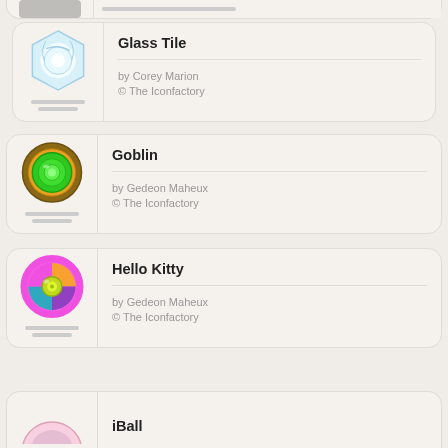[Figure (illustration): Partially visible card at top of page, cut off]
Glass Tile
by Corey Marion
© The Iconfactory
[Figure (illustration): Goblin icon: green glossy circle with gold/orange outer ring]
Goblin
by Gedeon Maheux
© The Iconfactory
[Figure (illustration): Hello Kitty icon: pink outer ring with colorful inner segments, yellow-green center]
Hello Kitty
by Gedeon Maheux
© The Iconfactory
[Figure (illustration): iBall icon partially visible at bottom]
iBall